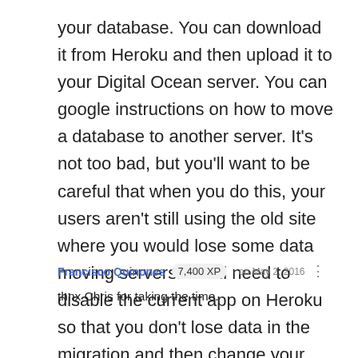your database. You can download it from Heroku and then upload it to your Digital Ocean server. You can google instructions on how to move a database to another server. It's not too bad, but you'll want to be careful that when you do this, your users aren't still using the old site where you would lose some data moving servers. You'll need to disable the current app on Heroku so that you don't lose data in the migration and then change your DNS to point to the new server on Digital Ocean.
Francisco Quinones  7,400 XP  · on May 2, 2016
thnx Chris for taking the time.